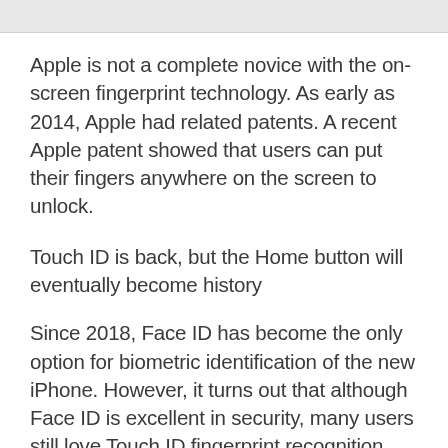Apple is not a complete novice with the on-screen fingerprint technology. As early as 2014, Apple had related patents. A recent Apple patent showed that users can put their fingers anywhere on the screen to unlock.
Touch ID is back, but the Home button will eventually become history
Since 2018, Face ID has become the only option for biometric identification of the new iPhone. However, it turns out that although Face ID is excellent in security, many users still love Touch ID fingerprint recognition and in the context of the outbreak of the